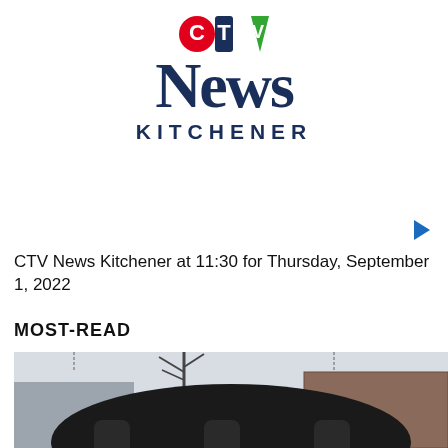[Figure (logo): CTV News Kitchener logo with red C circle, blue T square, green V triangle icons above large serif NEWS text and KITCHENER in spaced caps]
CTV News Kitchener at 11:30 for Thursday, September 1, 2022
MOST-READ
[Figure (photo): A dark silhouetted hanging sign with chain visible against a winter background with bare trees and brick buildings]